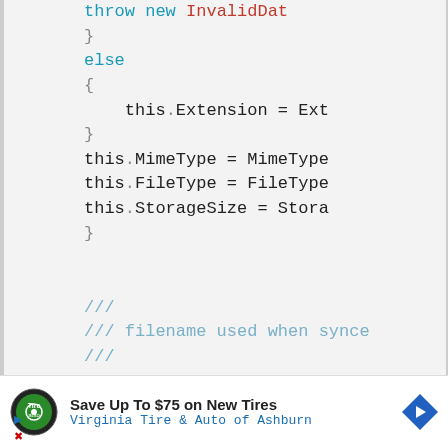throw new InvalidDat
}
else
{
    this.Extension = Ext
}
this.MimeType = MimeType
this.FileType = FileType
this.StorageSize = Stora
}

///
/// filename used when synce
///
[Figure (other): Advertisement banner: Save Up To $75 on New Tires - Virginia Tire & Auto of Ashburn, with logo and navigation arrow]